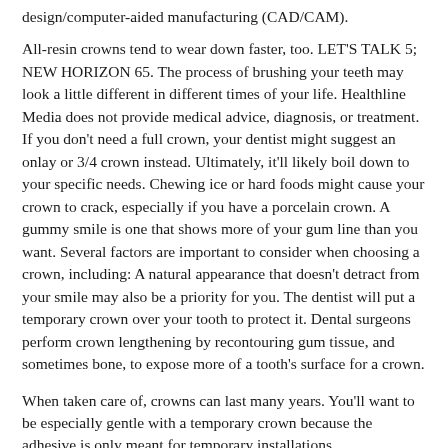design/computer-aided manufacturing (CAD/CAM).
All-resin crowns tend to wear down faster, too. LET'S TALK 5; NEW HORIZON 65. The process of brushing your teeth may look a little different in different times of your life. Healthline Media does not provide medical advice, diagnosis, or treatment. If you don't need a full crown, your dentist might suggest an onlay or 3/4 crown instead. Ultimately, it'll likely boil down to your specific needs. Chewing ice or hard foods might cause your crown to crack, especially if you have a porcelain crown. A gummy smile is one that shows more of your gum line than you want. Several factors are important to consider when choosing a crown, including: A natural appearance that doesn't detract from your smile may also be a priority for you. The dentist will put a temporary crown over your tooth to protect it. Dental surgeons perform crown lengthening by recontouring gum tissue, and sometimes bone, to expose more of a tooth's surface for a crown.
When taken care of, crowns can last many years. You'll want to be especially gentle with a temporary crown because the adhesive is only meant for temporary installations. 2.□□□□□□□□□□□□□□□□□□□□□ NEW CROWN 56. It's a crown that'll only remain in your mouth for a short period of time. Veneers can be used to treat a number of different cosmetic concerns, including chipped, broken, discolored, or smaller-than-average teeth.